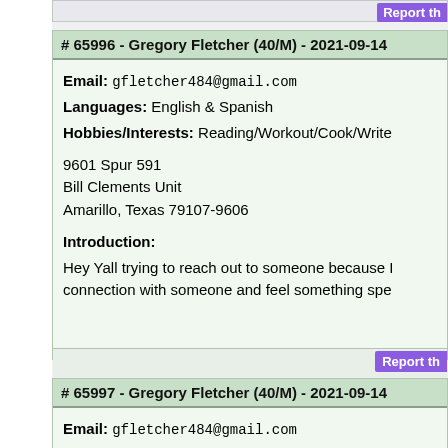Report th
# 65996 - Gregory Fletcher (40/M) - 2021-09-14
Email: gfletcher484@gmail.com
Languages: English & Spanish
Hobbies/Interests: Reading/Workout/Cook/Write
9601 Spur 591
Bill Clements Unit
Amarillo, Texas 79107-9606
Introduction:
Hey Yall trying to reach out to someone because I connection with someone and feel something spe
Report th
# 65997 - Gregory Fletcher (40/M) - 2021-09-14
Email: gfletcher484@gmail.com
Languages: English & Spanish
Hobbies/Interests: Reading/Workout/Cook/Write
9601 Spur 591
Bill Clements Unit